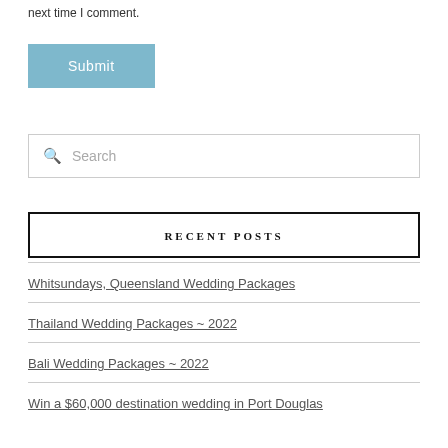next time I comment.
Submit
Search
RECENT POSTS
Whitsundays, Queensland Wedding Packages
Thailand Wedding Packages ~ 2022
Bali Wedding Packages ~ 2022
Win a $60,000 destination wedding in Port Douglas